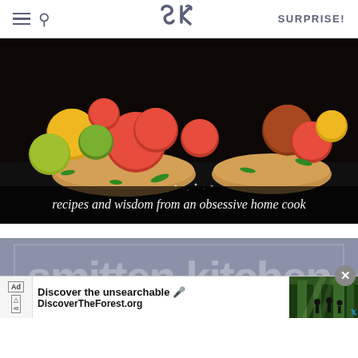[Figure (screenshot): Smitten Kitchen website screenshot showing navigation bar with hamburger menu, search icon, SK logo, and SURPRISE! text]
[Figure (photo): Food photo showing colorful heirloom tomatoes on toast/bruschetta with green onions on a dark background]
recipes and wisdom from an obsessive home cook
smitten kitchen
[Figure (screenshot): Advertisement overlay: Discover the unsearchable - DiscoverTheForest.org with image of people hiking in forest]